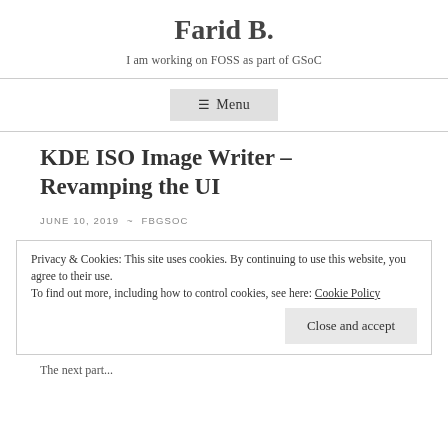Farid B.
I am working on FOSS as part of GSoC
≡ Menu
KDE ISO Image Writer – Revamping the UI
JUNE 10, 2019 ~ FBGSOC
Privacy & Cookies: This site uses cookies. By continuing to use this website, you agree to their use.
To find out more, including how to control cookies, see here: Cookie Policy
Close and accept
The next part...